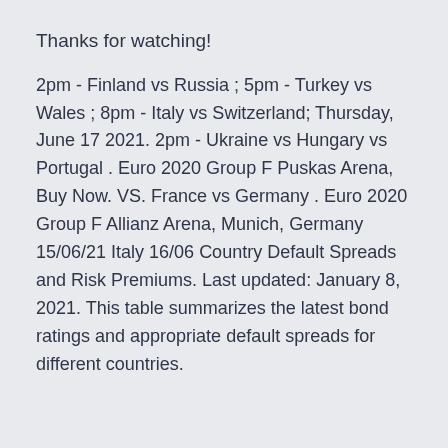Thanks for watching!
2pm - Finland vs Russia ; 5pm - Turkey vs Wales ; 8pm - Italy vs Switzerland; Thursday, June 17 2021. 2pm - Ukraine vs Hungary vs Portugal . Euro 2020 Group F Puskas Arena, Buy Now. VS. France vs Germany . Euro 2020 Group F Allianz Arena, Munich, Germany 15/06/21 Italy 16/06 Country Default Spreads and Risk Premiums. Last updated: January 8, 2021. This table summarizes the latest bond ratings and appropriate default spreads for different countries.